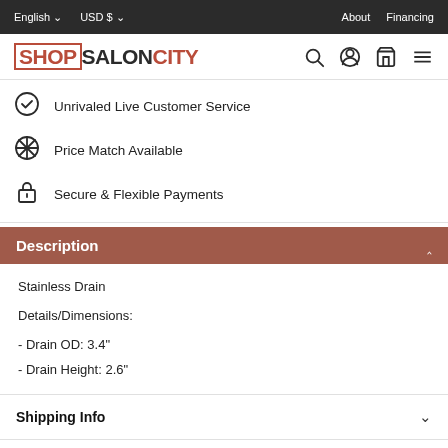English  USD $  About  Financing
[Figure (logo): ShopSalonCity logo with red and black text]
Unrivaled Live Customer Service
Price Match Available
Secure & Flexible Payments
Description
Stainless Drain
Details/Dimensions:
- Drain OD: 3.4"
- Drain Height: 2.6"
Shipping Info
Returns & Warranty